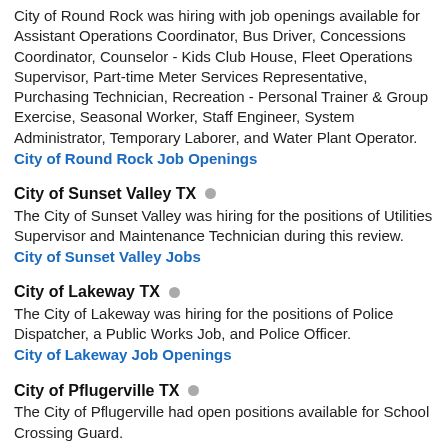City of Round Rock was hiring with job openings available for Assistant Operations Coordinator, Bus Driver, Concessions Coordinator, Counselor - Kids Club House, Fleet Operations Supervisor, Part-time Meter Services Representative, Purchasing Technician, Recreation - Personal Trainer & Group Exercise, Seasonal Worker, Staff Engineer, System Administrator, Temporary Laborer, and Water Plant Operator.
City of Round Rock Job Openings
City of Sunset Valley TX
The City of Sunset Valley was hiring for the positions of Utilities Supervisor and Maintenance Technician during this review.
City of Sunset Valley Jobs
City of Lakeway TX
The City of Lakeway was hiring for the positions of Police Dispatcher, a Public Works Job, and Police Officer.
City of Lakeway Job Openings
City of Pflugerville TX
The City of Pflugerville had open positions available for School Crossing Guard.
City of Pflugerville Jobs
Austin-Bergstrom International Airport Jobs
Austin-Bergstrom International Airport jobs are posted on the City of Austin website. There are also links provided to the various airlines, maintenance, cleaning services, car rental agencies and vendors such as airport restaurant and airport gift shop jobs. The third link below provides a